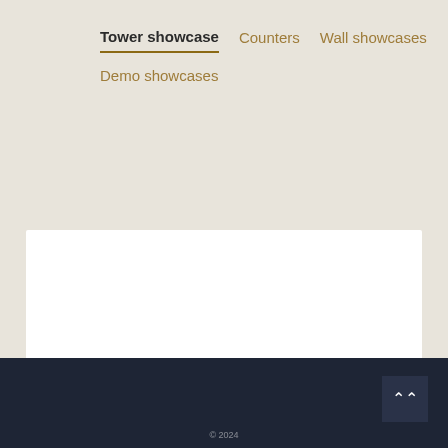Tower showcase | Counters | Wall showcases | Demo showcases
€ 520
[Figure (illustration): Four color swatches labeled TITAN (gray), SONOMA (wood grain), KREM (cream/beige), ANTRACIT (dark charcoal)]